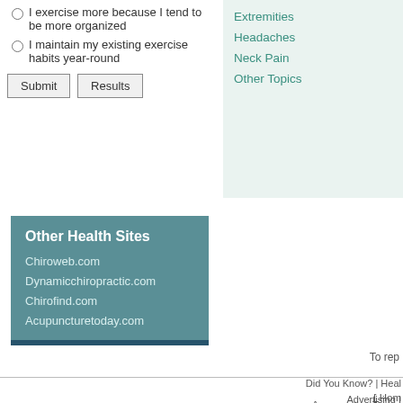I exercise more because I tend to be more organized
I maintain my existing exercise habits year-round
Submit   Results
Extremities
Headaches
Neck Pain
Other Topics
Other Health Sites
Chiroweb.com
Dynamicchiropractic.com
Chirofind.com
Acupuncturetoday.com
To rep
Did You Know? | Heal Advertising I [ Hom AcupunctureToday